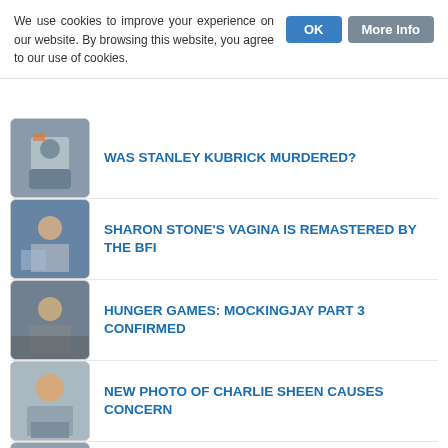We use cookies to improve your experience on our website. By browsing this website, you agree to our use of cookies.
WAS STANLEY KUBRICK MURDERED?
SHARON STONE'S VAGINA IS REMASTERED BY THE BFI
HUNGER GAMES: MOCKINGJAY PART 3 CONFIRMED
NEW PHOTO OF CHARLIE SHEEN CAUSES CONCERN
TERRENCE MALICK TALKS HATS